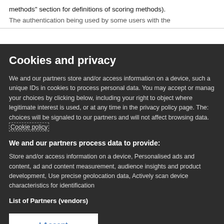methods” section for definitions of scoring methods).
The authentication being used by some users with the
Cookies and privacy
We and our partners store and/or access information on a device, such as unique IDs in cookies to process personal data. You may accept or manage your choices by clicking below, including your right to object where legitimate interest is used, or at any time in the privacy policy page. These choices will be signaled to our partners and will not affect browsing data. Cookie policy
We and our partners process data to provide:
Store and/or access information on a device, Personalised ads and content, ad and content measurement, audience insights and product development, Use precise geolocation data, Actively scan device characteristics for identification
List of Partners (vendors)
I Accept